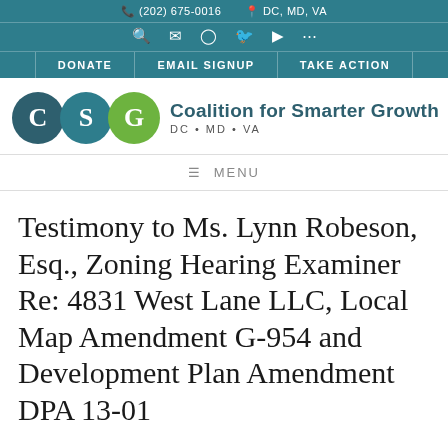(202) 675-0016  DC, MD, VA
[Figure (logo): Coalition for Smarter Growth logo with three circles labeled C, S, G and text 'Coalition for Smarter Growth DC • MD • VA']
≡ MENU
Testimony to Ms. Lynn Robeson, Esq., Zoning Hearing Examiner Re: 4831 West Lane LLC, Local Map Amendment G-954 and Development Plan Amendment DPA 13-01